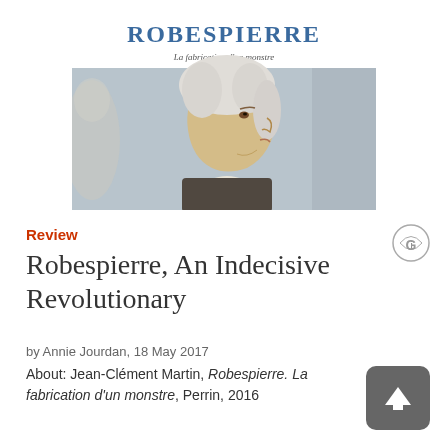[Figure (illustration): Book cover of 'ROBESPIERRE La fabrication d'un monstre' showing a side portrait of Robespierre in 18th century attire with powdered wig, against a grayish-blue background]
Review
Robespierre, An Indecisive Revolutionary
by Annie Jourdan, 18 May 2017
About: Jean-Clément Martin, Robespierre. La fabrication d'un monstre, Perrin, 2016